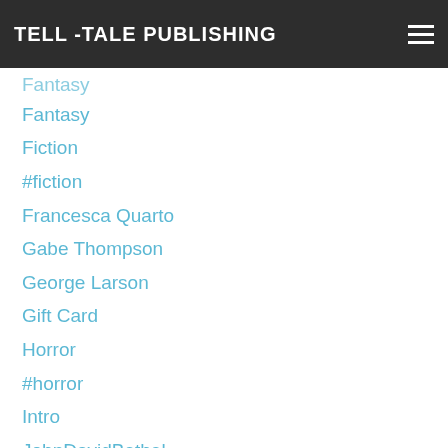TELL -TALE PUBLISHING
Fantasy
Fiction
#fiction
Francesca Quarto
Gabe Thompson
George Larson
Gift Card
Horror
#horror
Intro
JohnDavidBethel
Joseph J. Christiano
Lauren Giddings
Loralee Lillibridge
#Love'sPrey
#MarcusMattern
Mashup